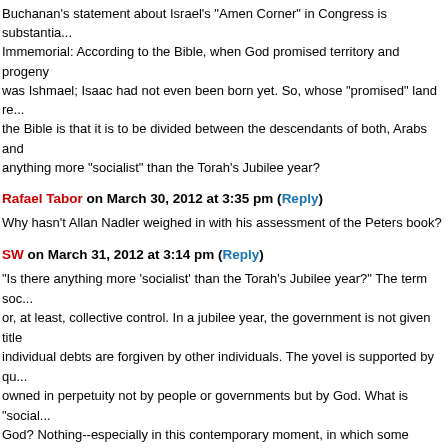Buchanan's statement about Israel's "Amen Corner" in Congress is substantia... Immemorial: According to the Bible, when God promised territory and progeny was Ishmael; Isaac had not even been born yet. So, whose "promised" land re... the Bible is that it is to be divided between the descendants of both, Arabs and anything more "socialist" than the Torah's Jubilee year?
Rafael Tabor on March 30, 2012 at 3:35 pm (Reply)
Why hasn't Allan Nadler weighed in with his assessment of the Peters book?
SW on March 31, 2012 at 3:14 pm (Reply)
"Is there anything more 'socialist' than the Torah's Jubilee year?" The term soc... or, at least, collective control. In a jubilee year, the government is not given title individual debts are forgiven by other individuals. The yovel is supported by qu... owned in perpetuity not by people or governments but by God. What is "social... God? Nothing--especially in this contemporary moment, in which some Christi... original socialist while Jewish socialists try to digest the murder and mayhem w... around the world, as testified by millions of 20th-century dead. Meanwhile, the and many U.S. cities and some states comes down to a populace being expec... dictate that the next generation, which has not run up such debt, would, logica... been run up trying to support the socialist model of the modern Western state. the ongoing collapse of Greece is more socialist than the yovel, as were the p... Holocaust and Holodomor socialist events, to name but two of many.
Ben Tzur on April 1, 2012 at 3:41 am (Reply)